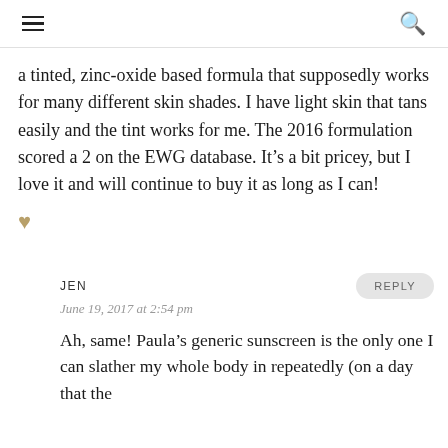≡  🔍
a tinted, zinc-oxide based formula that supposedly works for many different skin shades. I have light skin that tans easily and the tint works for me. The 2016 formulation scored a 2 on the EWG database. It’s a bit pricey, but I love it and will continue to buy it as long as I can! ♥
JEN
June 19, 2017 at 2:54 pm
Ah, same! Paula’s generic sunscreen is the only one I can slather my whole body in repeatedly (on a day that the